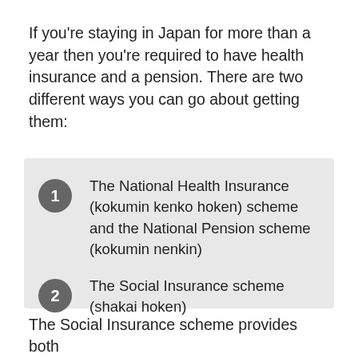If you're staying in Japan for more than a year then you're required to have health insurance and a pension. There are two different ways you can go about getting them:
The National Health Insurance (kokumin kenko hoken) scheme and the National Pension scheme (kokumin nenkin)
The Social Insurance scheme (shakai hoken)
The Social Insurance scheme provides both